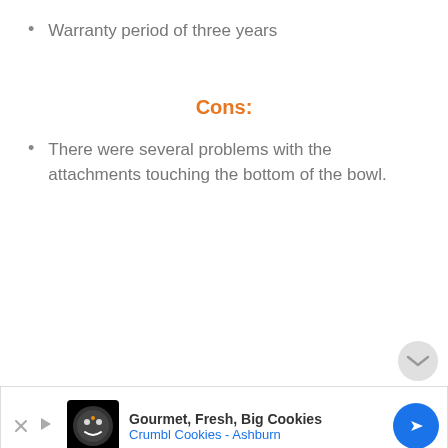Warranty period of three years
Cons:
There were several problems with the attachments touching the bottom of the bowl.
[Figure (other): Advertisement banner for Crumbl Cookies - Ashburn showing logo, text 'Gourmet, Fresh, Big Cookies' and navigation arrow icon]